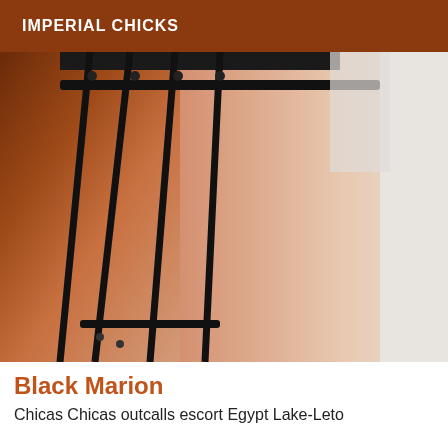IMPERIAL CHICKS
[Figure (photo): Close-up photo of a person's legs wearing black lingerie straps against a white bed background]
Black Marion
Chicas Chicas outcalls escort Egypt Lake-Leto